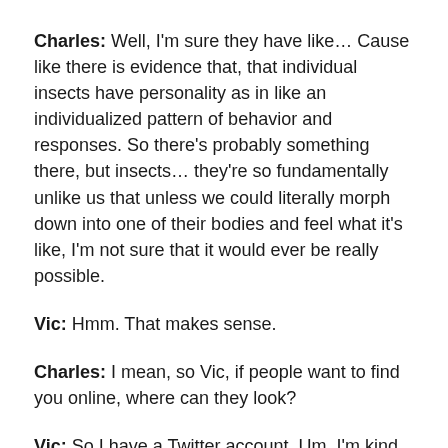Charles: Well, I'm sure they have like… Cause like there is evidence that, that individual insects have personality as in like an individualized pattern of behavior and responses. So there's probably something there, but insects… they're so fundamentally unlike us that unless we could literally morph down into one of their bodies and feel what it's like, I'm not sure that it would ever be really possible.
Vic: Hmm. That makes sense.
Charles: I mean, so Vic, if people want to find you online, where can they look?
Vic: So I have a Twitter account. Um, I'm kind of back and forth on whether I'm active or not based on, you know, the state of the world, but it would be, my handle